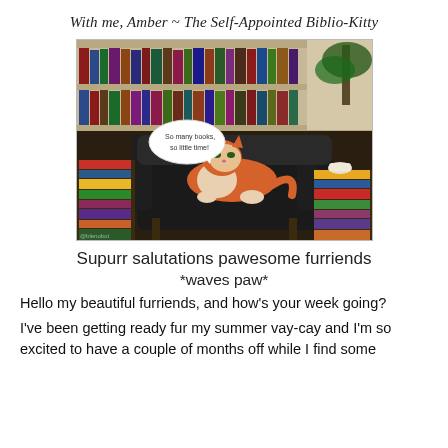With me, Amber ~ The Self-Appointed Biblio-Kitty
[Figure (photo): A cat sitting on a dark armchair surrounded by stacks of books and a bookshelf in the background. The cat has a speech bubble saying 'So many books, so little time!']
Supurr salutations pawesome furriends
*waves paw*
Hello my beautiful furriends, and how's your week going?
I've been getting ready fur my summer vay-cay and I'm so excited to have a couple of months off while I find some